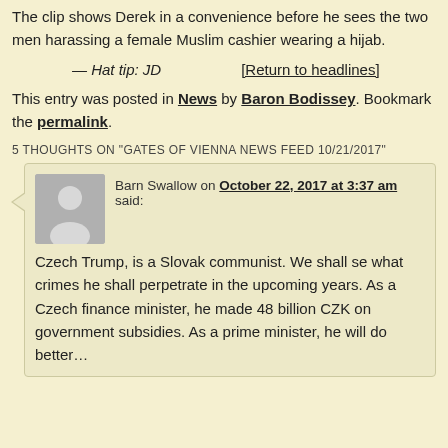The clip shows Derek in a convenience before he sees the two men harassing a female Muslim cashier wearing a hijab.
— Hat tip: JD    [Return to headlines]
This entry was posted in News by Baron Bodissey. Bookmark the permalink.
5 THOUGHTS ON "GATES OF VIENNA NEWS FEED 10/21/2017"
Barn Swallow on October 22, 2017 at 3:37 am said: Czech Trump, is a Slovak communist. We shall se what crimes he shall perpetrate in the upcoming years. As a Czech finance minister, he made 48 billion CZK on government subsidies. As a prime minister, he will do better…